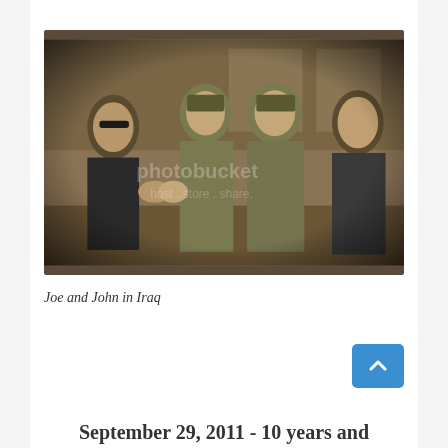[Figure (photo): Sepia-toned photograph of four men standing together outdoors. On the left, a man in a dark suit with sunglasses. In the middle, two men in military camouflage uniforms and caps. On the right, an older man in a dark jacket and leather coat. A Photobucket watermark is visible. The photo has a vignette effect.]
Joe and John in Iraq
September 29, 2011 - 10 years and